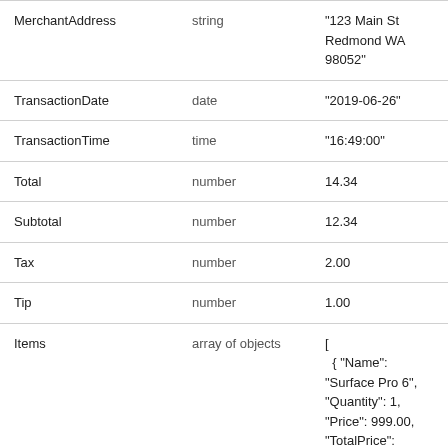| Field | Type | Value |
| --- | --- | --- |
| MerchantAddress | string | "123 Main St Redmond WA 98052" |
| TransactionDate | date | "2019-06-26" |
| TransactionTime | time | "16:49:00" |
| Total | number | 14.34 |
| Subtotal | number | 12.34 |
| Tax | number | 2.00 |
| Tip | number | 1.00 |
| Items | array of objects | [
  { "Name": "Surface Pro 6", "Quantity": 1, "Price": 999.00, "TotalPrice": 999.00 }, |